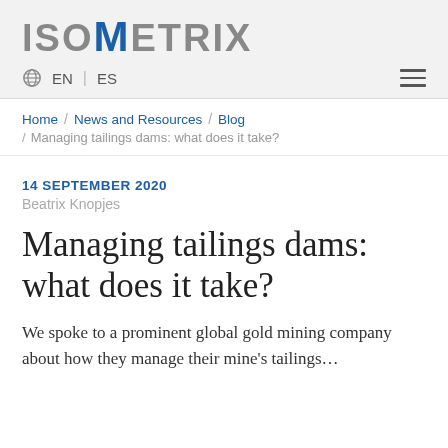ISOMETRIX
EN  ES
Home / News and Resources / Blog / Managing tailings dams: what does it take?
14 SEPTEMBER 2020
Beatrix Knopjes
Managing tailings dams: what does it take?
We spoke to a prominent global gold mining company about how they manage their mine's tailings...